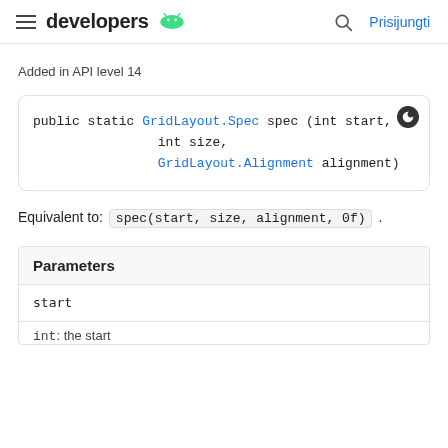developers | Prisijungti
Added in API level 14
[Figure (screenshot): Code block showing: public static GridLayout.Spec spec (int start, int size, GridLayout.Alignment alignment)]
Equivalent to: spec(start, size, alignment, 0f).
Parameters
start
int: the start